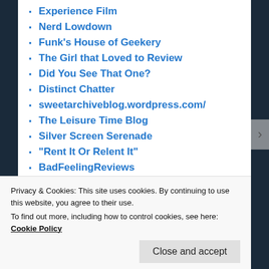Experience Film
Nerd Lowdown
Funk's House of Geekery
The Girl that Loved to Review
Did You See That One?
Distinct Chatter
sweetarchiveblog.wordpress.com/
The Leisure Time Blog
Silver Screen Serenade
"Rent It Or Relent It"
BadFeelingReviews
What to Watch.
Talkin Bout Stuff
rebeccacaverly
Privacy & Cookies: This site uses cookies. By continuing to use this website, you agree to their use.
To find out more, including how to control cookies, see here: Cookie Policy
Close and accept